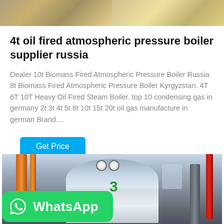[Figure (photo): Top banner showing two industrial boiler/machinery photos side by side]
4t oil fired atmospheric pressure boiler supplier russia
Dealer 10t Biomass Fired Atmospheric Pressure Boiler Russia 8t Biomass Fired Atmospheric Pressure Boiler Kyrgyzstan. 4T 6T 10T Heavy Oil Fired Steam Boiler. top 10 condensing gas in germany 2t 3t 4t 5t 6t 10t 15t 20t oil gas manufacture in german Brand....
Get Price
[Figure (photo): Industrial boiler room with large cylindrical boiler numbered 3, orange and red pipes, and WhatsApp badge overlay]